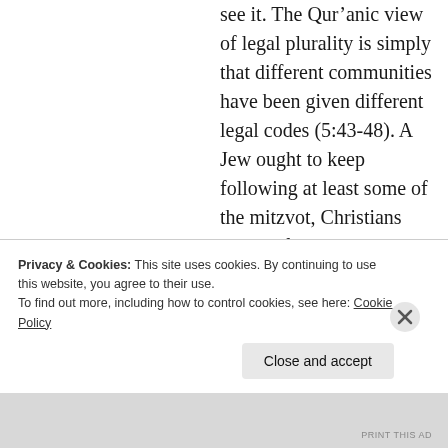see it. The Qur'anic view of legal plurality is simply that different communities have been given different legal codes (5:43-48). A Jew ought to keep following at least some of the mitzvot, Christians need to follow the legal code of "the Injil" — currently I'm thinking this probably refers to inferences from Acts 15, which some Christians were for a large
Privacy & Cookies: This site uses cookies. By continuing to use this website, you agree to their use.
To find out more, including how to control cookies, see here: Cookie Policy
Close and accept